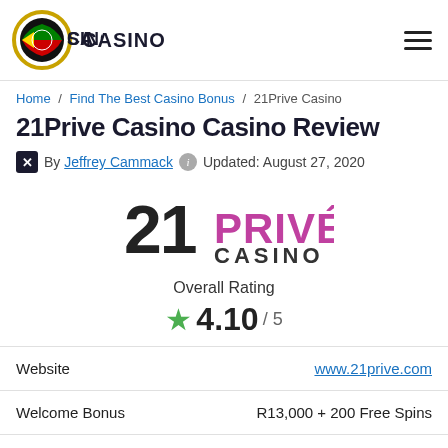Casino logo and hamburger menu
Home / Find The Best Casino Bonus / 21Prive Casino
21Prive Casino Casino Review
By Jeffrey Cammack  Updated: August 27, 2020
[Figure (logo): 21 PRIVÉ CASINO logo in black and magenta/purple text]
Overall Rating
★4.10/ 5
|  |  |
| --- | --- |
| Website | www.21prive.com |
| Welcome Bonus | R13,000 + 200 Free Spins |
| Game Providers | Microgaming, NetEnt, Evolution |